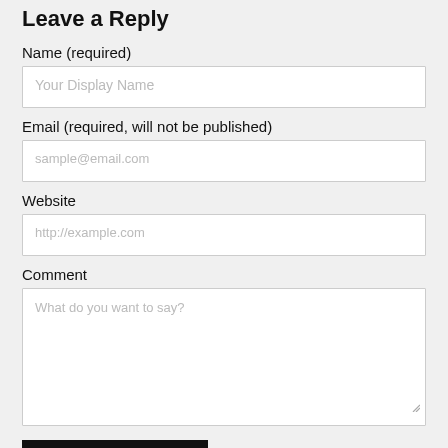Leave a Reply
Name (required)
Your Display Name
Email (required, will not be published)
sample@email.com
Website
http://example.com
Comment
What do you want to say?
Submit Comment